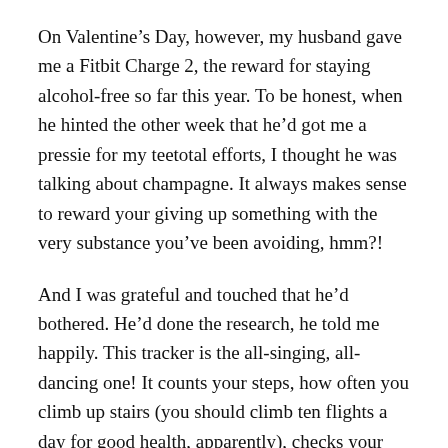On Valentine's Day, however, my husband gave me a Fitbit Charge 2, the reward for staying alcohol-free so far this year. To be honest, when he hinted the other week that he'd got me a pressie for my teetotal efforts, I thought he was talking about champagne. It always makes sense to reward your giving up something with the very substance you've been avoiding, hmm?!
And I was grateful and touched that he'd bothered. He'd done the research, he told me happily. This tracker is the all-singing, all-dancing one! It counts your steps, how often you climb up stairs (you should climb ten flights a day for good health, apparently), checks your heart beat, auto-recognises different exercises and monitors your sleep. You can add in a food tracker and monitor your calorie intake if you want to lose weight.